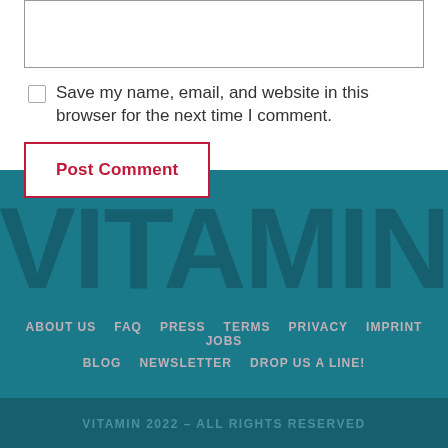Save my name, email, and website in this browser for the next time I comment.
Post Comment
[Figure (logo): VITAMIN logo in large bold dark teal text on teal background]
ABOUT US  FAQ  PRESS  TERMS  PRIVACY  IMPRINT  JOBS  BLOG  NEWSLETTER  DROP US A LINE!
VITAMIN 2022 – ALL RIGHTS RESERVED